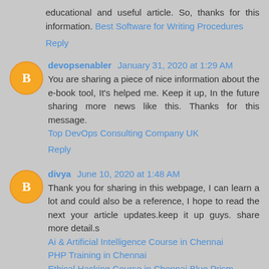educational and useful article. So, thanks for this information. Best Software for Writing Procedures
Reply
devopsenabler January 31, 2020 at 1:29 AM
You are sharing a piece of nice information about the e-book tool, It's helped me. Keep it up, In the future sharing more news like this. Thanks for this message. Top DevOps Consulting Company UK
Reply
divya June 10, 2020 at 1:48 AM
Thank you for sharing in this webpage, I can learn a lot and could also be a reference, I hope to read the next your article updates.keep it up guys. share more detail.s Ai & Artificial Intelligence Course in Chennai PHP Training in Chennai Ethical Hacking Course in Chennai Blue Prism